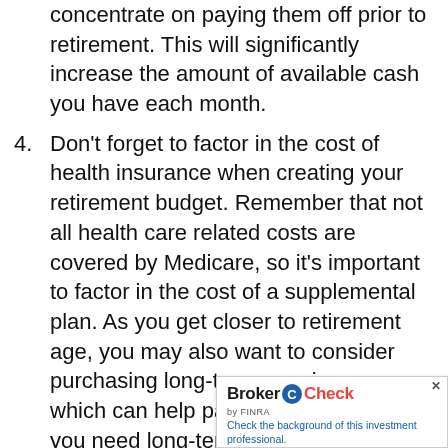concentrate on paying them off prior to retirement. This will significantly increase the amount of available cash you have each month.
4. Don't forget to factor in the cost of health insurance when creating your retirement budget. Remember that not all health care related costs are covered by Medicare, so it's important to factor in the cost of a supplemental plan. As you get closer to retirement age, you may also want to consider purchasing long-term care insurance, which can help pay the costs should you need long-term or nursing home care.
5. Stay on top of your retirement savings. Checking in monthly is important; allowing you to review market changes and see performance details. It can also help you analyze under-performing and perhaps even give you reason to invest...
[Figure (other): BrokerCheck by FINRA badge overlay in the bottom-right corner with text 'Check the background of this investment professional.']